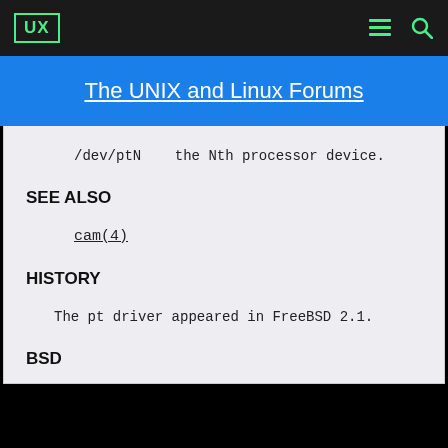UX | The UNIX and Linux Forums
/dev/ptN    the Nth processor device.
SEE ALSO
cam(4)
HISTORY
The pt driver appeared in FreeBSD 2.1.
BSD